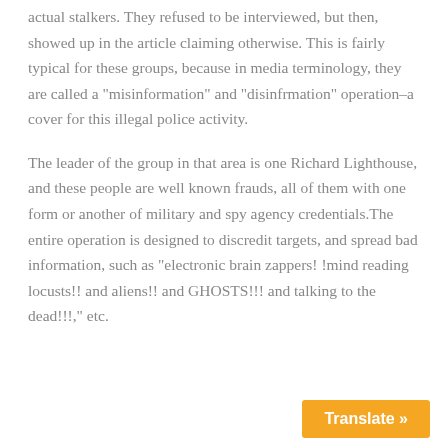actual stalkers. They refused to be interviewed, but then, showed up in the article claiming otherwise. This is fairly typical for these groups, because in media terminology, they are called a "misinformation" and "disinfrmation" operation–a cover for this illegal police activity.
The leader of the group in that area is one Richard Lighthouse, and these people are well known frauds, all of them with one form or another of military and spy agency credentials.The entire operation is designed to discredit targets, and spread bad information, such as "electronic brain zappers! !mind reading locusts!! and aliens!! and GHOSTS!!! and talking to the dead!!!," etc.
Translate »